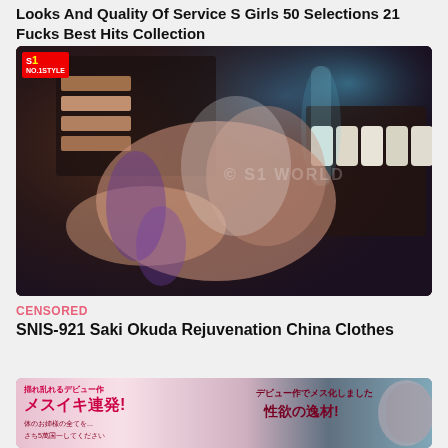Looks And Quality Of Service S Girls 50 Selections 21 Fucks Best Hits Collection
[Figure (photo): Promotional photo with S1 NO.1 STYLE logo in top-left corner and watermark overlay]
CENSORED
SNIS-921 Saki Okuda Rejuvenation China Clothes
[Figure (photo): Second promotional thumbnail with Japanese text including メスイキ連発 and 性欲の逸材]